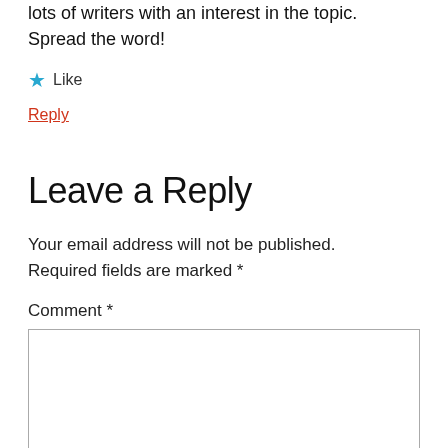lots of writers with an interest in the topic. Spread the word!
★ Like
Reply
Leave a Reply
Your email address will not be published. Required fields are marked *
Comment *